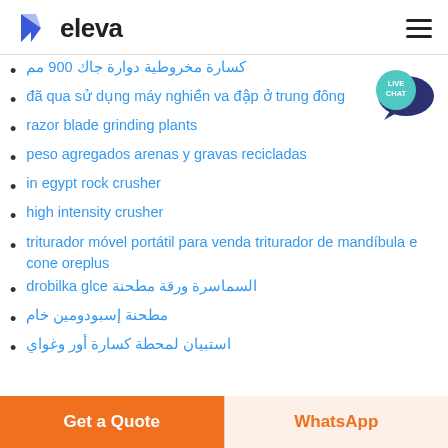eleva
كسارة مخروطية دوارة جاك 900 مم
đã qua sử dụng máy nghiền va đập ở trung đông
razor blade grinding plants
peso agregados arenas y gravas recicladas
in egypt rock crusher
high intensity crusher
triturador móvel portátil para venda triturador de mandíbula e cone oreplus
drobilka glce السماسرة ورقة مطحنة
مطحنة إسبودومين خام
استبيان لمحطة كسارة أور وغواي
Get a Quote | WhatsApp